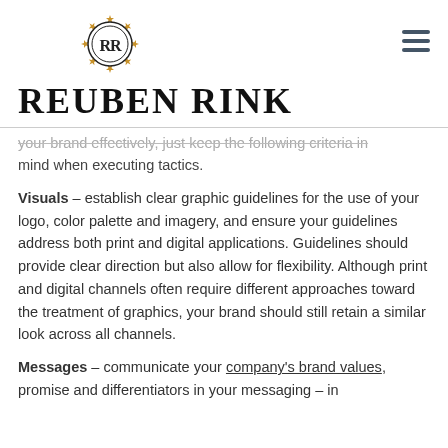[Figure (logo): Reuben Rink logo: circular emblem with RR monogram surrounded by stars, above the text REUBEN RINK in large serif font]
your brand effectively, just keep the following criteria in mind when executing tactics.
Visuals – establish clear graphic guidelines for the use of your logo, color palette and imagery, and ensure your guidelines address both print and digital applications. Guidelines should provide clear direction but also allow for flexibility. Although print and digital channels often require different approaches toward the treatment of graphics, your brand should still retain a similar look across all channels.
Messages – communicate your company's brand values, promise and differentiators in your messaging – in